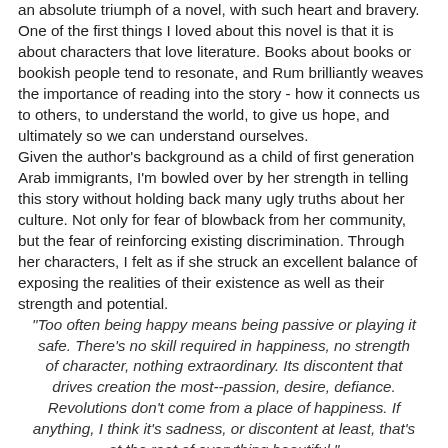an absolute triumph of a novel, with such heart and bravery. One of the first things I loved about this novel is that it is about characters that love literature. Books about books or bookish people tend to resonate, and Rum brilliantly weaves the importance of reading into the story - how it connects us to others, to understand the world, to give us hope, and ultimately so we can understand ourselves.
Given the author's background as a child of first generation Arab immigrants, I'm bowled over by her strength in telling this story without holding back many ugly truths about her culture. Not only for fear of blowback from her community, but the fear of reinforcing existing discrimination. Through her characters, I felt as if she struck an excellent balance of exposing the realities of their existence as well as their strength and potential.
"Too often being happy means being passive or playing it safe. There's no skill required in happiness, no strength of character, nothing extraordinary. Its discontent that drives creation the most--passion, desire, defiance. Revolutions don't come from a place of happiness. If anything, I think it's sadness, or discontent at least, that's at the root of everything beautiful."